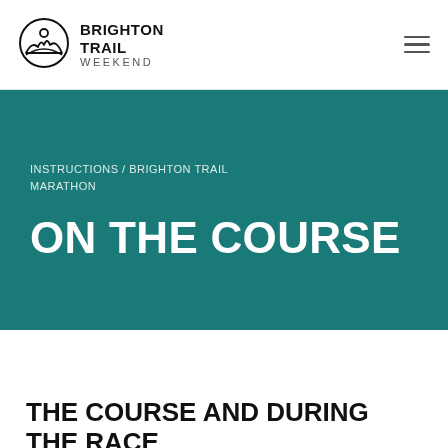[Figure (logo): Brighton Trail Weekend circular logo with mountain/sun scene inside a circle]
BRIGHTON TRAIL WEEKEND
INSTRUCTIONS / BRIGHTON TRAIL MARATHON
ON THE COURSE
THE COURSE AND DURING THE RACE